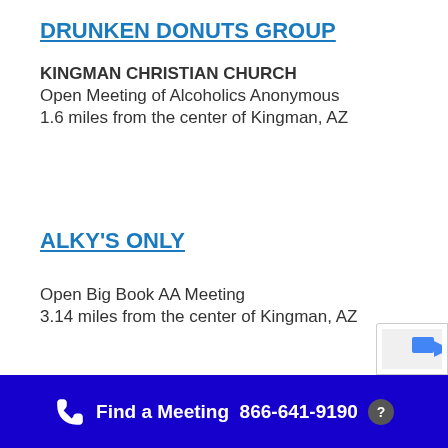DRUNKEN DONUTS GROUP
KINGMAN CHRISTIAN CHURCH
Open Meeting of Alcoholics Anonymous
1.6 miles from the center of Kingman, AZ
ALKY'S ONLY
Open Big Book AA Meeting
3.14 miles from the center of Kingman, AZ
Find a Meeting  866-641-9190